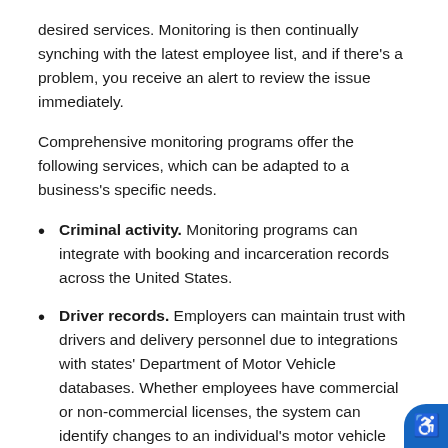desired services. Monitoring is then continually synching with the latest employee list, and if there's a problem, you receive an alert to review the issue immediately.
Comprehensive monitoring programs offer the following services, which can be adapted to a business's specific needs.
Criminal activity. Monitoring programs can integrate with booking and incarceration records across the United States.
Driver records. Employers can maintain trust with drivers and delivery personnel due to integrations with states' Department of Motor Vehicle databases. Whether employees have commercial or non-commercial licenses, the system can identify changes to an individual's motor vehicle record and promptly notify